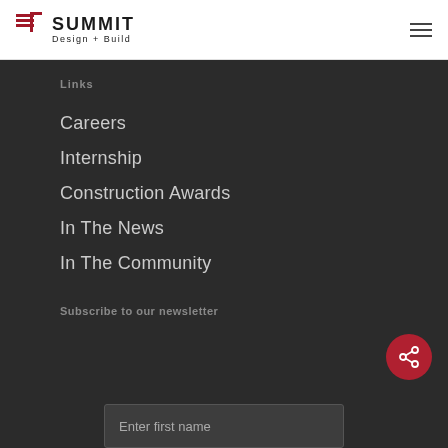[Figure (logo): Summit Design + Build logo with red building icon and bold uppercase SUMMIT text with Design + Build subtitle]
Links
Careers
Internship
Construction Awards
In The News
In The Community
Subscribe to our newsletter
Enter first name